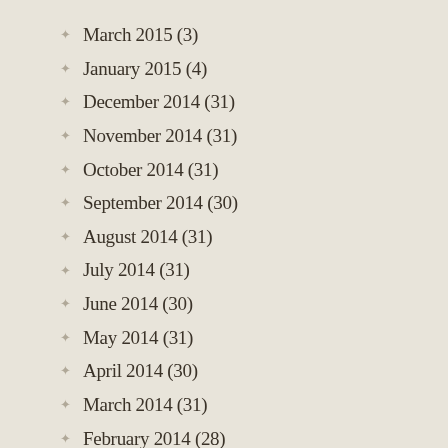March 2015 (3)
January 2015 (4)
December 2014 (31)
November 2014 (31)
October 2014 (31)
September 2014 (30)
August 2014 (31)
July 2014 (31)
June 2014 (30)
May 2014 (31)
April 2014 (30)
March 2014 (31)
February 2014 (28)